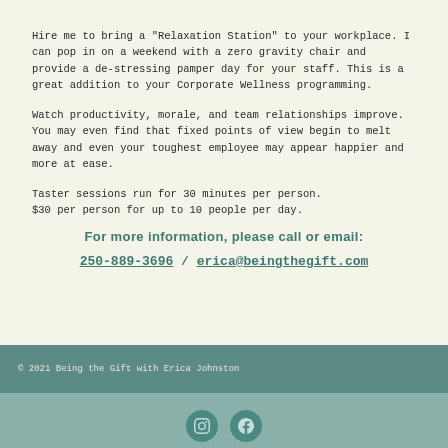Hire me to bring a "Relaxation Station" to your workplace. I can pop in on a weekend with a zero gravity chair and provide a de-stressing pamper day for your staff. This is a great addition to your Corporate Wellness programming.
Watch productivity, morale, and team relationships improve. You may even find that fixed points of view begin to melt away and even your toughest employee may appear happier and more at ease.
Taster sessions run for 30 minutes per person.
$30 per person for up to 10 people per day.
For more information, please call or email:
250-889-3696 / erica@beingthegift.com
© 2021 Being the Gift with Erica Johnston